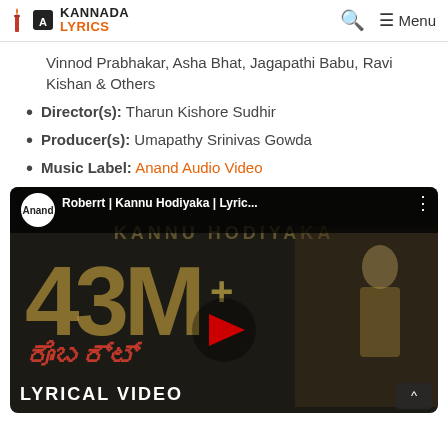KANNADA LYRICS — Search — Menu
Vinnod Prabhakar, Asha Bhat, Jagapathi Babu, Ravi Kishan & Others
Director(s): Tharun Kishore Sudhir
Producer(s): Umapathy Srinivas Gowda
Music Label: Anand Audio Video
[Figure (screenshot): YouTube video embed showing 'Robertt | Kannu Hodiyaka | Lyric...' with 43M+ views, lyrical video thumbnail with play button]